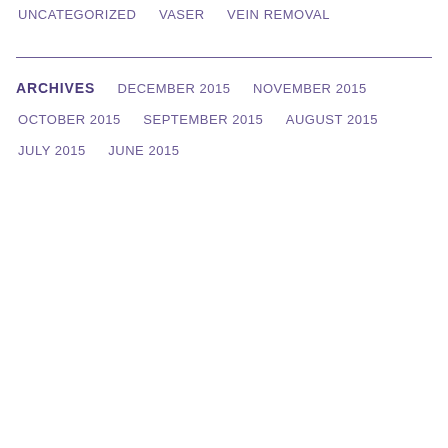UNCATEGORIZED
VASER
VEIN REMOVAL
ARCHIVES
DECEMBER 2015
NOVEMBER 2015
OCTOBER 2015
SEPTEMBER 2015
AUGUST 2015
JULY 2015
JUNE 2015